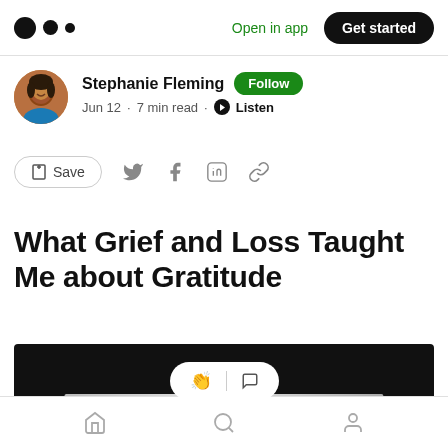Medium logo | Open in app | Get started
Stephanie Fleming · Follow
Jun 12 · 7 min read · Listen
Save (social share icons: Twitter, Facebook, LinkedIn, Link)
What Grief and Loss Taught Me about Gratitude
[Figure (photo): Dark/black background article header image with stone texture visible and a reaction pill overlay showing clap and comment icons]
Home · Search · Profile (bottom navigation bar)